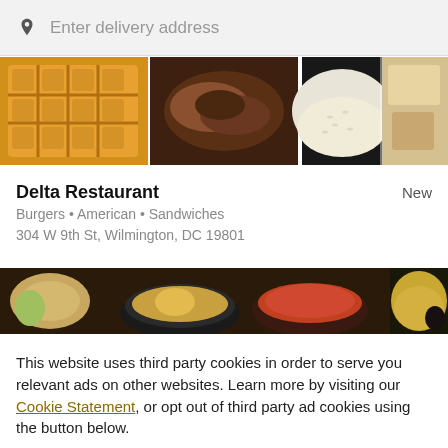[Figure (screenshot): Search bar with location pin icon and placeholder text 'Enter delivery address']
[Figure (photo): Food photo strip showing waffles, pulled meat with rice, and cheeses]
Delta Restaurant
New
Burgers • American • Sandwiches
304 W 9th St, Wilmington, DC 19801
[Figure (photo): Food photo strip showing various dishes including empanadas, soup, and rice dishes]
This website uses third party cookies in order to serve you relevant ads on other websites. Learn more by visiting our Cookie Statement, or opt out of third party ad cookies using the button below.
OPT OUT
GOT IT